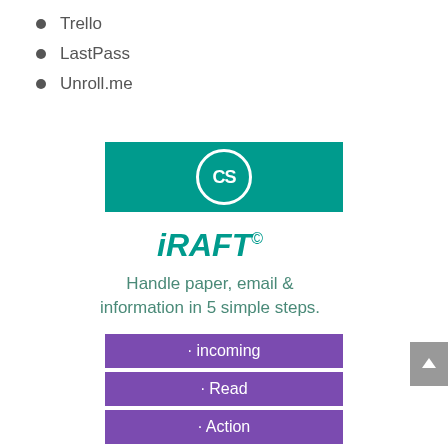Trello
LastPass
Unroll.me
[Figure (logo): CS logo — teal rectangle background with a white circle containing the letters C and S]
iRAFT©
Handle paper, email & information in 5 simple steps.
· incoming
· Read
· Action
· File